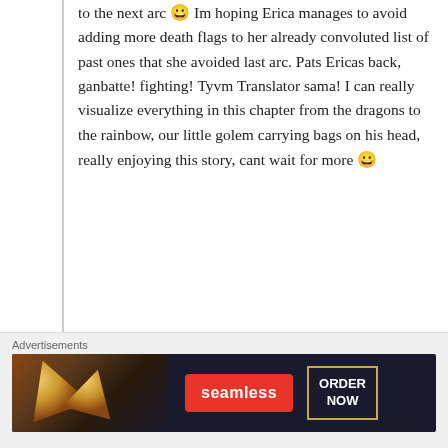to the next arc 😀 Im hoping Erica manages to avoid adding more death flags to her already convoluted list of past ones that she avoided last arc. Pats Ericas back, ganbatte! fighting! Tyvm Translator sama! I can really visualize everything in this chapter from the dragons to the rainbow, our little golem carrying bags on his head, really enjoying this story, cant wait for more 😀
★ Liked by 1 person
↳ Reply
Advertisements
[Figure (other): Seamless food delivery advertisement banner showing pizza slices on dark background with Seamless logo and ORDER NOW button]